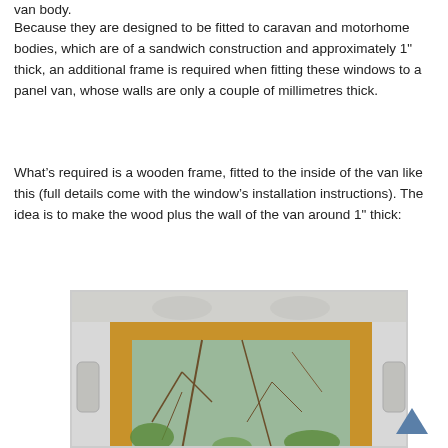van body.
Because they are designed to be fitted to caravan and motorhome bodies, which are of a sandwich construction and approximately 1" thick, an additional frame is required when fitting these windows to a panel van, whose walls are only a couple of millimetres thick.
What’s required is a wooden frame, fitted to the inside of the van like this (full details come with the window’s installation instructions). The idea is to make the wood plus the wall of the van around 1" thick:
[Figure (photo): Interior view of a van window opening showing a wooden frame fitted around the window aperture, with a view of bare trees and greenery visible through the window glass.]